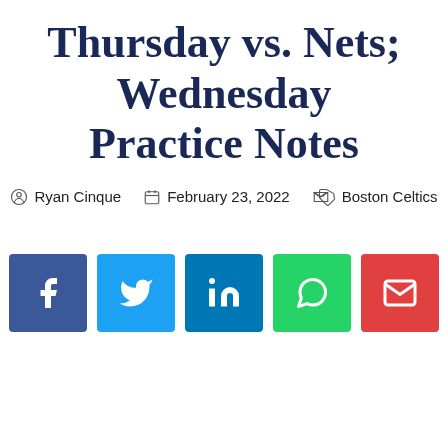Thursday vs. Nets; Wednesday Practice Notes
Ryan Cinque   February 23, 2022   Boston Celtics
[Figure (infographic): Social share buttons: Facebook (blue), Twitter (light blue), LinkedIn (dark blue), WhatsApp (green), Email (red)]